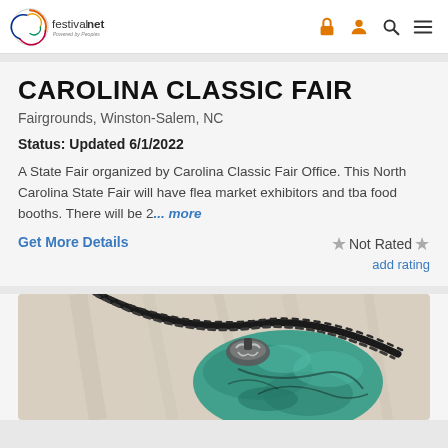festivalnet. Powered by Peoples — navigation icons
CAROLINA CLASSIC FAIR
Fairgrounds, Winston-Salem, NC
Status: Updated 6/1/2022
A State Fair organized by Carolina Classic Fair Office. This North Carolina State Fair will have flea market exhibitors and tba food booths. There will be 2... more
Get More Details
Not Rated
add rating
[Figure (photo): Close-up photo of a turquoise stone pendant jewelry piece with a braided black cord and ornate silver setting]